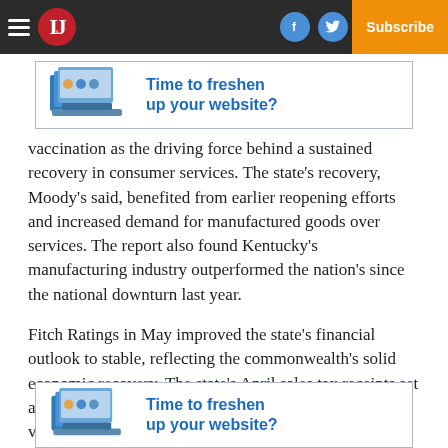IJ newspaper navigation bar with logo, social icons, Log In, and Subscribe
[Figure (infographic): Ad banner: laptop/screens image with text 'Time to freshen up your website?']
vaccination as the driving force behind a sustained recovery in consumer services. The state's recovery, Moody's said, benefited from earlier reopening efforts and increased demand for manufactured goods over services. The report also found Kentucky's manufacturing industry outperformed the nation's since the national downturn last year.
Fitch Ratings in May improved the state's financial outlook to stable, reflecting the commonwealth's solid economic recovery. The state's April sales tax receipts set an all-time monthly record at $486.5 million, as did vehicle usage tax receipts, at over $64
[Figure (infographic): Ad banner: laptop/screens image with text 'Time to freshen up your website?']